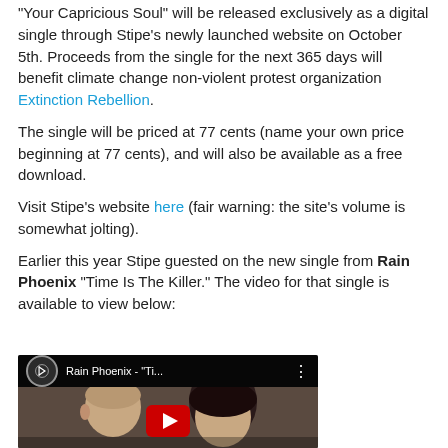"Your Capricious Soul" will be released exclusively as a digital single through Stipe's newly launched website on October 5th. Proceeds from the single for the next 365 days will benefit climate change non-violent protest organization Extinction Rebellion.
The single will be priced at 77 cents (name your own price beginning at 77 cents), and will also be available as a free download.
Visit Stipe's website here (fair warning: the site's volume is somewhat jolting).
Earlier this year Stipe guested on the new single from Rain Phoenix "Time Is The Killer." The video for that single is available to view below:
[Figure (screenshot): YouTube video thumbnail for Rain Phoenix - 'Ti...' showing two people facing each other, with a YouTube play button overlay and the video title in the top bar.]